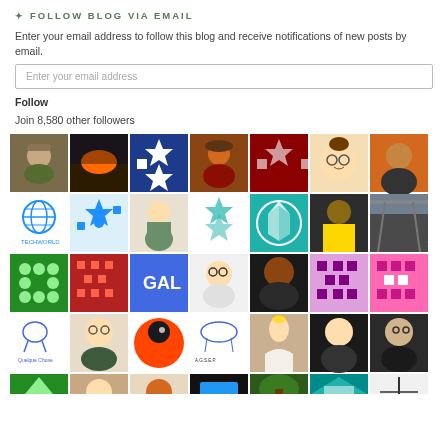✦ FOLLOW BLOG VIA EMAIL
Enter your email address to follow this blog and receive notifications of new posts by email.
Enter your email address [input field]
Follow
Join 8,580 other followers
[Figure (photo): Grid of follower avatar thumbnails showing various profile photos and decorative pattern icons]